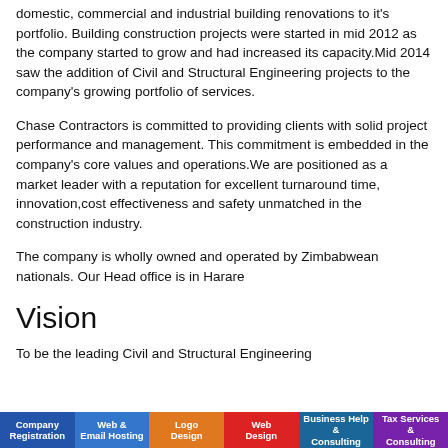domestic, commercial and industrial building renovations to it's portfolio. Building construction projects were started in mid 2012 as the company started to grow and had increased its capacity.Mid 2014 saw the addition of Civil and Structural Engineering projects to the company's growing portfolio of services.
Chase Contractors is committed to providing clients with solid project performance and management. This commitment is embedded in the company's core values and operations.We are positioned as a market leader with a reputation for excellent turnaround time, innovation,cost effectiveness and safety unmatched in the construction industry.
The company is wholly owned and operated by Zimbabwean nationals. Our Head office is in Harare
Vision
To be the leading Civil and Structural Engineering
Company Registration | Web & Email Hosting | Logo Design | Web Design | Business Help & Consulting | Tax Services & Consulting